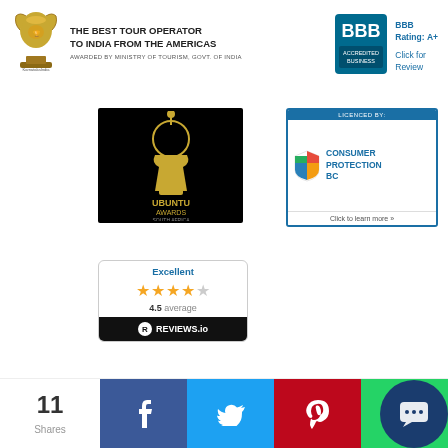[Figure (logo): Trophy award logo for Best Tour Operator to India from the Americas]
THE BEST TOUR OPERATOR TO INDIA FROM THE AMERICAS
AWARDED BY MINISTRY OF TOURISM, GOVT. OF INDIA
[Figure (logo): BBB Accredited Business logo with Rating A+]
BBB
Rating: A+
Click for Review
[Figure (logo): Ubuntu Awards South Africa logo on black background]
[Figure (logo): Consumer Protection BC licensed badge]
[Figure (logo): Reviews.io badge showing Excellent 4.5 average rating with 4 stars]
[Figure (logo): Payment methods: SecureTrust Trusted Commerce, VISA, MasterCard, PayPal, Bank Transfer]
© 2022 Indus Travels Inc. Licence Number# 28570
11 Shares